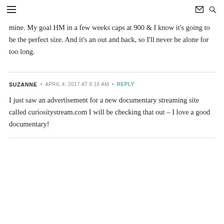≡  ✉ 🔍
mine. My goal HM in a few weeks caps at 900 & I know it's going to be the perfect size. And it's an out and back, so I'll never be alone for too long.
SUZANNE  •  APRIL 4, 2017 AT 6:18 AM  •  REPLY
I just saw an advertisement for a new documentary streaming site called curiositystream.com I will be checking that out – I love a good documentary!